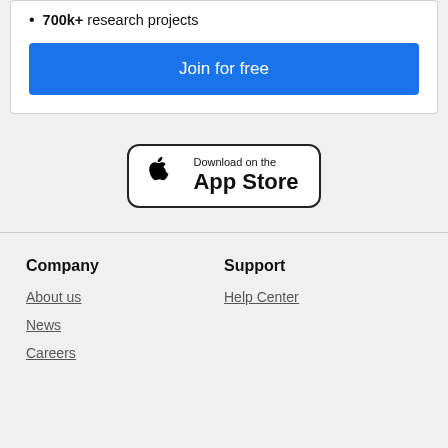700k+ research projects
Join for free
[Figure (logo): Download on the App Store badge with Apple logo]
Company
Support
About us
Help Center
News
Careers